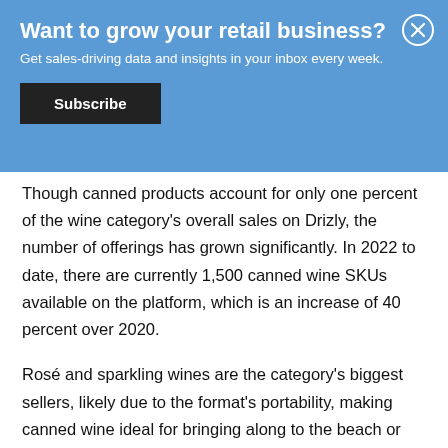Want to grow your retail business?
Get sales-driving data and insights in your inbox every week.
Subscribe
Though canned products account for only one percent of the wine category's overall sales on Drizly, the number of offerings has grown significantly. In 2022 to date, there are currently 1,500 canned wine SKUs available on the platform, which is an increase of 40 percent over 2020.
Rosé and sparkling wines are the category's biggest sellers, likely due to the format's portability, making canned wine ideal for bringing along to the beach or other outdoor settings. During the last 12 months, the Champagne and sparkling wine subcategory accounted for